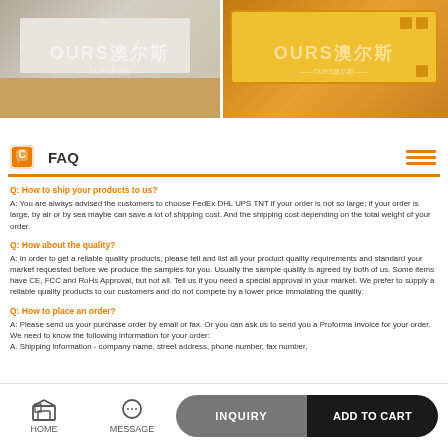[Figure (photo): Two product photos side by side: left shows a white/grey item in cardboard box with OURS watermark, right shows a yellow item with OURS watermark]
FAQ
Q: How to ship your products to us?
A: You are always advised the customers to choose FedEx DHL UPS TNT if your order is not so large; if your order is large, by air or by sea maybe can save a lot of shipping cost. And the shipping cost depending on the total weight of your order.
Q: How about the quality?
A: In order to get a reliable quality products, please tell and list all your product quality requirements and standard your market requested before we produce the samples for you. Usually the sample quality is agreed by both of us. Some items have CE, FCC and RoHs Approval, but not all. Tell us if you need a special approval in your market. We prefer to supply a reliable quality products to our customers and do not compete by a lower price immolating the quality.
Q: How to place an order?
A: Please send us your purchase order by email or fax. Or you can ask us to send you a Proforma Invoice for your order.
We need to know the following information for your order:
A. Shipping information - company name, street address, phone number, fax number,
HOME   MESSAGE   INQUIRY   ADD TO CART